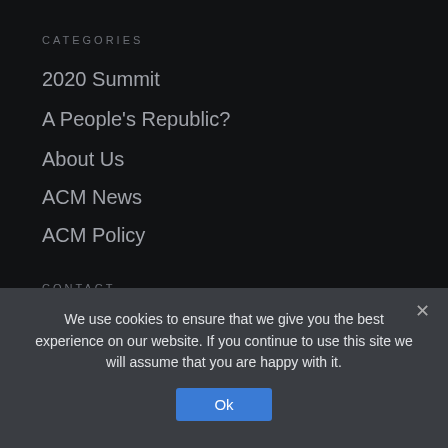CATEGORIES
2020 Summit
A People's Republic?
About Us
ACM News
ACM Policy
CONTACT
GPO Box 9841, Sydney, NSW, 2000
We use cookies to ensure that we give you the best experience on our website. If you continue to use this site we will assume that you are happy with it.